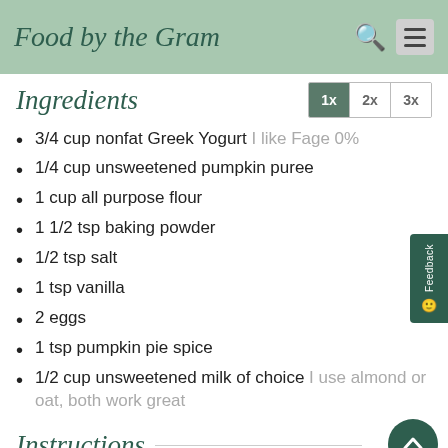Food by the Gram
Ingredients
3/4 cup nonfat Greek Yogurt I like Fage 0%
1/4 cup unsweetened pumpkin puree
1 cup all purpose flour
1 1/2 tsp baking powder
1/2 tsp salt
1 tsp vanilla
2 eggs
1 tsp pumpkin pie spice
1/2 cup unsweetened milk of choice I use almond or oat, both work great
Instructions